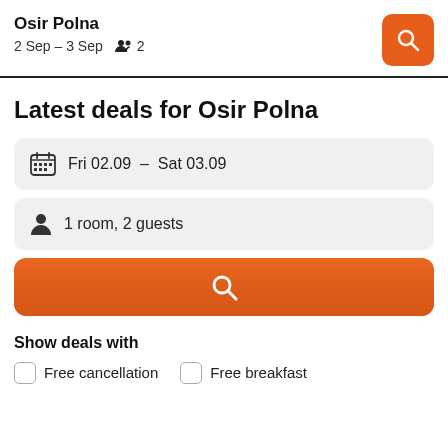Osir Polna
2 Sep – 3 Sep   2
Latest deals for Osir Polna
Fri 02.09  –  Sat 03.09
1 room, 2 guests
Show deals with
Free cancellation
Free breakfast